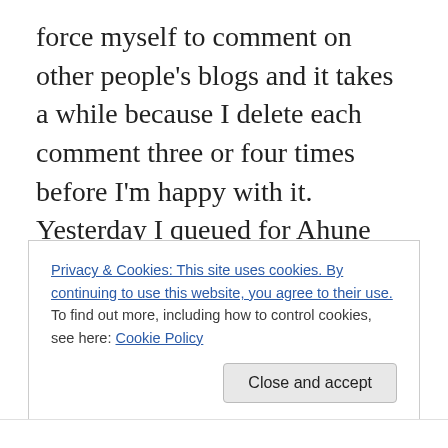force myself to comment on other people's blogs and it takes a while because I delete each comment three or four times before I'm happy with it. Yesterday I queued for Ahune solo, I know it sounds like nothing but to me it was a huge undertaking. I was shaking the entire time, just waiting for something terrible to happen. It didn't but the Gods of RNG didn't see fit to reward my courage with a pet or a scythe either.

I accept now that I'll never be free of this, that it's always going to be apart of me. The little demon on my shoulder
Privacy & Cookies: This site uses cookies. By continuing to use this website, you agree to their use.
To find out more, including how to control cookies, see here: Cookie Policy
Close and accept